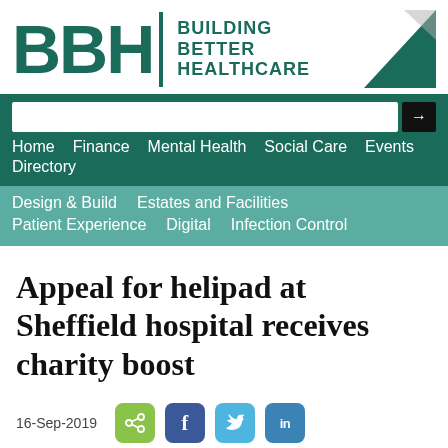[Figure (logo): BBH Building Better Healthcare logo with teal block letters BBH, vertical divider, text 'BUILDING BETTER HEALTHCARE', and two triangle shapes on the right]
Home  Finance  Mental Health  Social Care  Events  Directory
Design & Build  Estates and Facilities  Patient Experience  Digital  Infection Control
Appeal for helipad at Sheffield hospital receives charity boost
16-Sep-2019